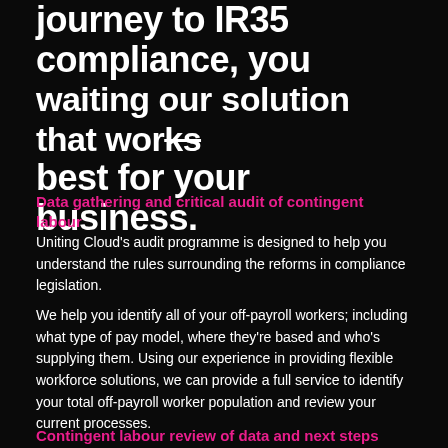journey to IR35 compliance, you waiting our solution that works best for your business.
Data gathering and critical audit of contingent labour
Uniting Cloud's audit programme is designed to help you understand the rules surrounding the reforms in compliance legislation.
We help you identify all of your off-payroll workers; including what type of pay model, where they're based and who's supplying them. Using our experience in providing flexible workforce solutions, we can provide a full service to identify your total off-payroll worker population and review your current processes.
Contingent labour review of data and next steps